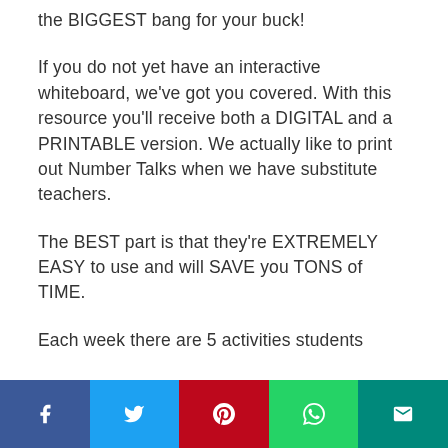the BIGGEST bang for your buck!
If you do not yet have an interactive whiteboard, we've got you covered. With this resource you'll receive both a DIGITAL and a PRINTABLE version. We actually like to print out Number Talks when we have substitute teachers.
The BEST part is that they're EXTREMELY EASY to use and will SAVE you TONS of TIME.
Each week there are 5 activities students
f  t  p  whatsapp  email